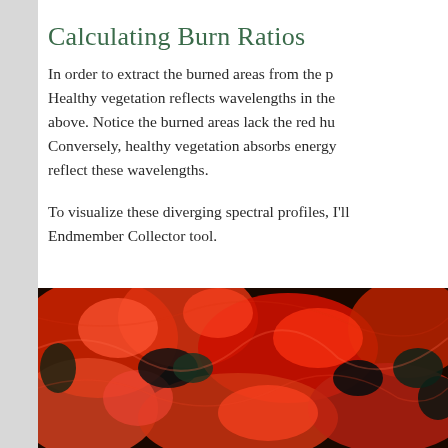Calculating Burn Ratios
In order to extract the burned areas from the p... Healthy vegetation reflects wavelengths in the ... above. Notice the burned areas lack the red hu... Conversely, healthy vegetation absorbs energy ... reflect these wavelengths.
To visualize these diverging spectral profiles, I'll... Endmember Collector tool.
[Figure (photo): Satellite image showing burned and vegetated areas in false-color infrared. Healthy vegetation appears bright red, burned areas appear dark/black.]